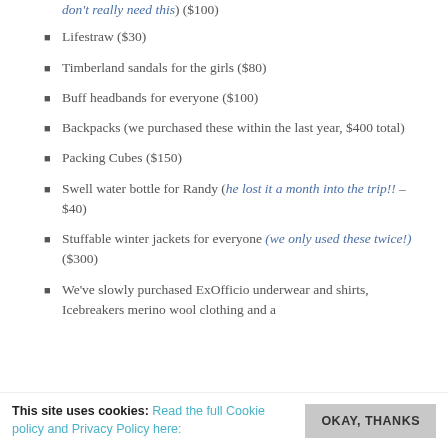don't really need this) ($100)
Lifestraw ($30)
Timberland sandals for the girls ($80)
Buff headbands for everyone ($100)
Backpacks (we purchased these within the last year, $400 total)
Packing Cubes ($150)
Swell water bottle for Randy (he lost it a month into the trip!! – $40)
Stuffable winter jackets for everyone (we only used these twice!) ($300)
We've slowly purchased ExOfficio underwear and shirts, Icebreakers merino wool clothing and a
This site uses cookies: Read the full Cookie policy and Privacy Policy here: